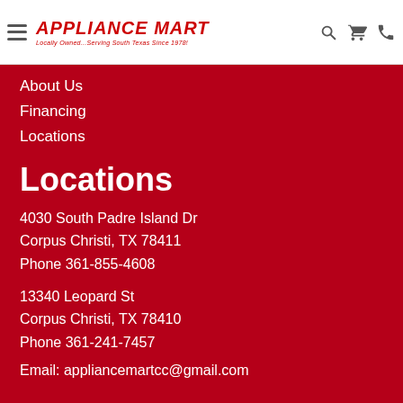Appliance Mart — Locally Owned...Serving South Texas Since 1978!
About Us
Financing
Locations
Locations
4030 South Padre Island Dr
Corpus Christi, TX 78411
Phone 361-855-4608
13340 Leopard St
Corpus Christi, TX 78410
Phone 361-241-7457
Email: appliancemartcc@gmail.com